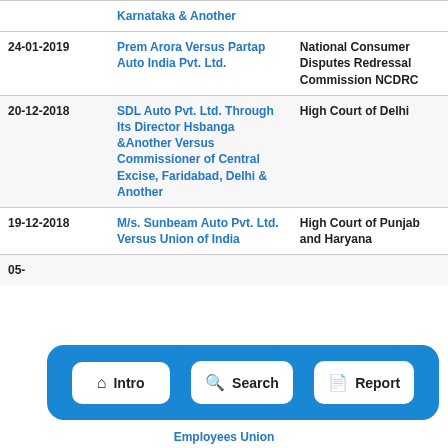| Date | Case | Court |
| --- | --- | --- |
|  | Karnataka & Another |  |
| 24-01-2019 | Prem Arora Versus Partap Auto India Pvt. Ltd. | National Consumer Disputes Redressal Commission NCDRC |
| 20-12-2018 | SDL Auto Pvt. Ltd. Through Its Director Hsbanga &Another Versus Commissioner of Central Excise, Faridabad, Delhi & Another | High Court of Delhi |
| 19-12-2018 | M/s. Sunbeam Auto Pvt. Ltd. Versus Union of India | High Court of Punjab and Haryana |
| 05-... |  |  |
[Figure (screenshot): Navigation bar with three buttons: Intro (home icon), Search (search icon), Report (document icon), on a blue dashed-border background]
Employees Union